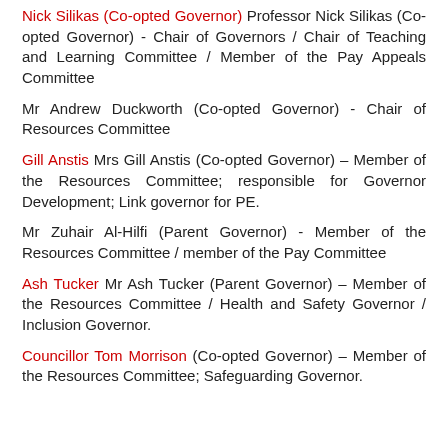Nick Silikas (Co-opted Governor) Professor Nick Silikas (Co-opted Governor) - Chair of Governors / Chair of Teaching and Learning Committee / Member of the Pay Appeals Committee
Mr Andrew Duckworth (Co-opted Governor) - Chair of Resources Committee
Gill Anstis Mrs Gill Anstis (Co-opted Governor) – Member of the Resources Committee; responsible for Governor Development; Link governor for PE.
Mr Zuhair Al-Hilfi (Parent Governor) - Member of the Resources Committee / member of the Pay Committee
Ash Tucker Mr Ash Tucker (Parent Governor) – Member of the Resources Committee / Health and Safety Governor / Inclusion Governor.
Councillor Tom Morrison (Co-opted Governor) – Member of the Resources Committee; Safeguarding Governor.